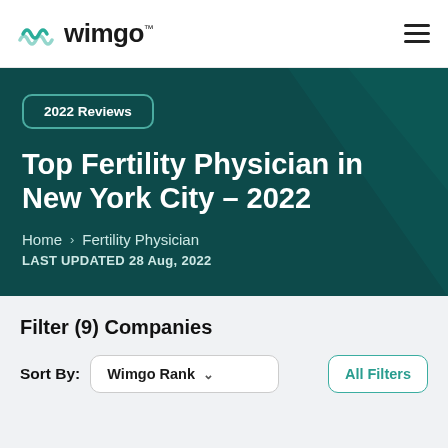wimgo
2022 Reviews
Top Fertility Physician in New York City – 2022
Home > Fertility Physician
LAST UPDATED 28 Aug, 2022
Filter (9) Companies
Sort By: Wimgo Rank
All Filters